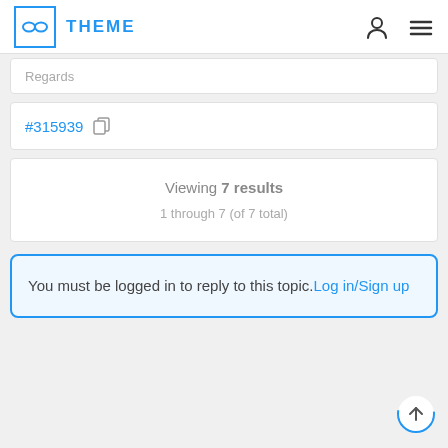∞ THEME
Regards
#315939
Viewing 7 results
1 through 7 (of 7 total)
You must be logged in to reply to this topic. Log in/Sign up